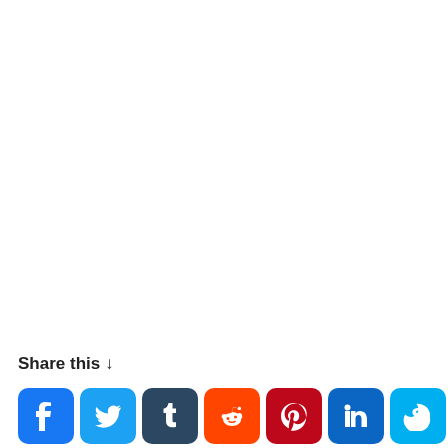Share this ↓
[Figure (infographic): Row of social media share buttons: Facebook, Twitter, Tumblr, Reddit, Pinterest, LinkedIn, Skype, WhatsApp, WeChat, LINE]